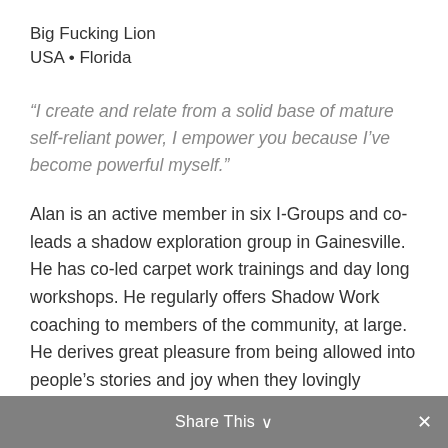Big Fucking Lion
USA • Florida
“I create and relate from a solid base of mature self-reliant power, I empower you because I’ve become powerful myself.”
Alan is an active member in six I-Groups and co-leads a shadow exploration group in Gainesville. He has co-led carpet work trainings and day long workshops. He regularly offers Shadow Work coaching to members of the community, at large. He derives great pleasure from being allowed into people’s stories and joy when they lovingly connect with hidden parts of themselves. The recipient earned a BA in psychology and an MBA.  He created and ran a gift manufacturing business for twenty four years. He completed all of Cliff Barry’s Shadow Work training and is a Certified Shadow Work Coach.
Share This